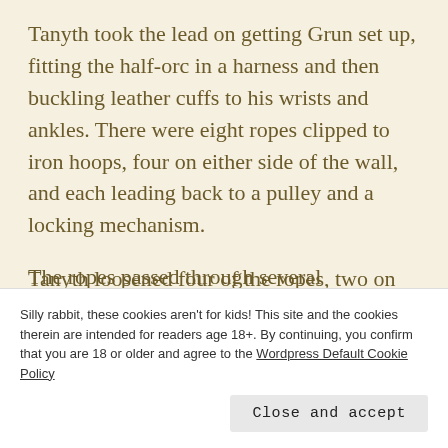Tanyth took the lead on getting Grun set up, fitting the half-orc in a harness and then buckling leather cuffs to his wrists and ankles. There were eight ropes clipped to iron hoops, four on either side of the wall, and each leading back to a pulley and a locking mechanism.
Tanyth loosened four of the ropes, two on each side, and clipped them to Grun's wrists and ankles, letting
The ropes passed through several
Silly rabbit, these cookies aren't for kids! This site and the cookies therein are intended for readers age 18+. By continuing, you confirm that you are 18 or older and agree to the Wordpress Default Cookie Policy
Close and accept